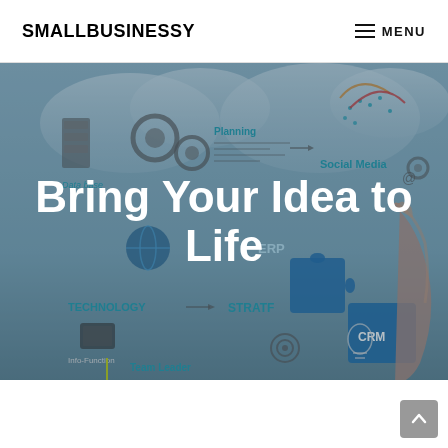SMALLBUSINESSY   ☰ MENU
[Figure (illustration): Business concept infographic background image showing gears, data base, planning charts, social media icons, ERP, CRM, technology, strategy, team leader, info-function labels, with a hand touching a puzzle piece in a blue-tinted overlay]
Bring Your Idea to Life